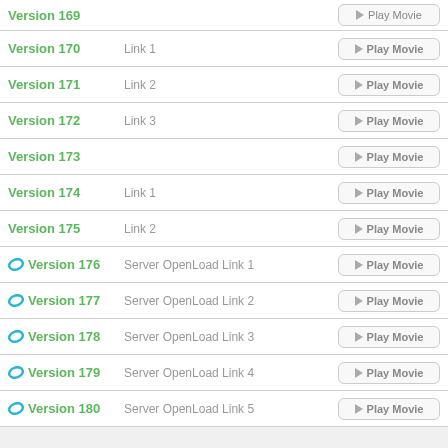Version 170  Link 1  Play Movie
Version 171  Link 2  Play Movie
Version 172  Link 3  Play Movie
Version 173  Play Movie
Version 174  Link 1  Play Movie
Version 175  Link 2  Play Movie
Version 176  Server OpenLoad Link 1  Play Movie
Version 177  Server OpenLoad Link 2  Play Movie
Version 178  Server OpenLoad Link 3  Play Movie
Version 179  Server OpenLoad Link 4  Play Movie
Version 180  Server OpenLoad Link 5  Play Movie